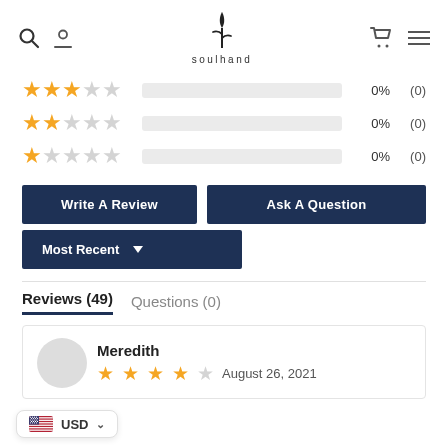soulhand
[Figure (other): Rating breakdown: 3 stars 0% (0), 2 stars 0% (0), 1 star 0% (0) with progress bars]
Write A Review
Ask A Question
Most Recent ▼
Reviews (49)   Questions (0)
Meredith — ★★★★☆ August 26, 2021
USD